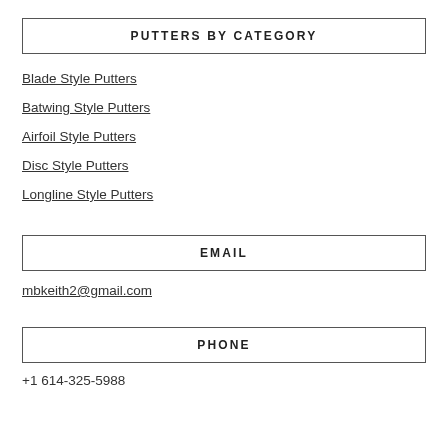PUTTERS BY CATEGORY
Blade Style Putters
Batwing Style Putters
Airfoil Style Putters
Disc Style Putters
Longline Style Putters
EMAIL
mbkeith2@gmail.com
PHONE
+1 614-325-5988